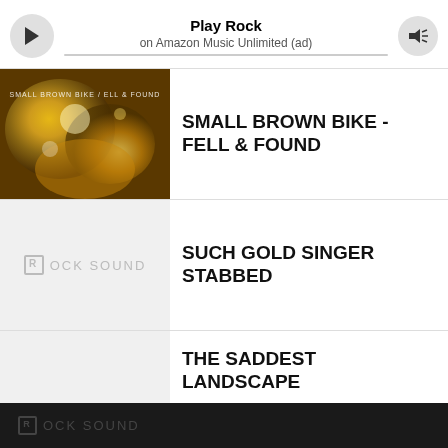[Figure (screenshot): Music player bar with play button, 'Play Rock' title, 'on Amazon Music Unlimited (ad)' subtitle, progress bar, and volume button]
SMALL BROWN BIKE - FELL & FOUND
SUCH GOLD SINGER STABBED
THE SADDEST LANDSCAPE
ROCK SOUND